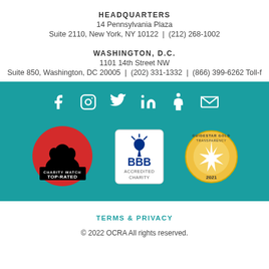HEADQUARTERS
14 Pennsylvania Plaza
Suite 2110, New York, NY 10122  |  (212) 268-1002
WASHINGTON, D.C.
1101 14th Street NW
Suite 850, Washington, DC 20005  |  (202) 331-1332  |  (866) 399-6262 Toll-free
[Figure (infographic): Social media icons on teal background: Facebook, Instagram, Twitter, LinkedIn, a person/charity icon, and email envelope icon, all in white]
[Figure (logo): CharityWatch Top-Rated badge with dog silhouette and red circle]
[Figure (logo): BBB Accredited Charity badge with blue torch logo]
[Figure (logo): GuideStar Gold Transparency 2021 seal with starburst]
TERMS & PRIVACY
© 2022 OCRA All rights reserved.